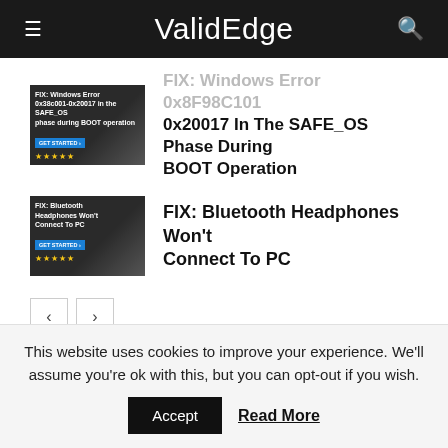ValidEdge
[Figure (screenshot): Thumbnail for Windows Error 0x8F00017 article showing text overlay on dark background with laptop]
FIX: Windows Error 0x8F98C101 0x20017 In The SAFE_OS Phase During BOOT Operation
[Figure (screenshot): Thumbnail for Bluetooth Headphones Won't Connect To PC article]
FIX: Bluetooth Headphones Won't Connect To PC
< >
Specially Picked for You
This website uses cookies to improve your experience. We'll assume you're ok with this, but you can opt-out if you wish.
Accept   Read More